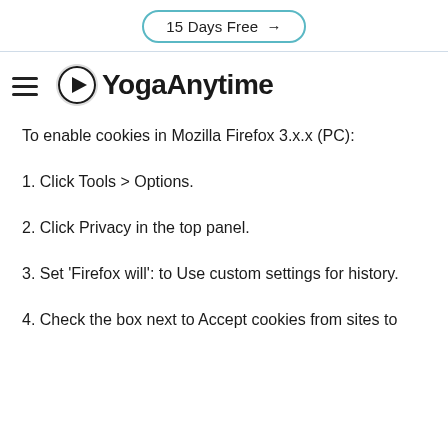15 Days Free →
[Figure (logo): YogaAnytime logo with hamburger menu icon and circular play button icon]
To enable cookies in Mozilla Firefox 3.x.x (PC):
1. Click Tools > Options.
2. Click Privacy in the top panel.
3. Set 'Firefox will': to Use custom settings for history.
4. Check the box next to Accept cookies from sites to